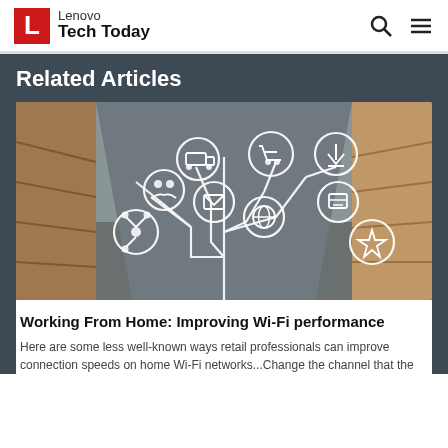Lenovo Tech Today
Related Articles
[Figure (illustration): Blurred retail store interior with technology/commerce icons connected by circuit-like lines: truck, shopping cart, download arrow, people, email, globe, network, certificate/award icons overlaid on store shelves background.]
Working From Home: Improving Wi-Fi performance
Here are some less well-known ways retail professionals can improve connection speeds on home Wi-Fi networks...Change the channel that the